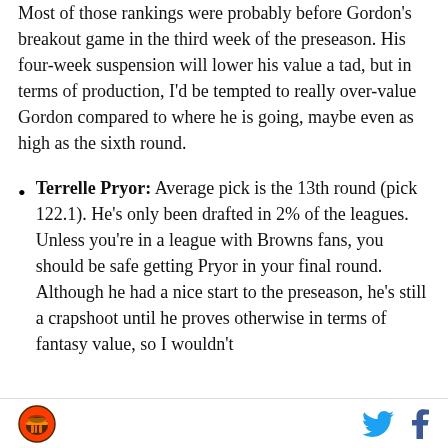Most of those rankings were probably before Gordon's breakout game in the third week of the preseason. His four-week suspension will lower his value a tad, but in terms of production, I'd be tempted to really over-value Gordon compared to where he is going, maybe even as high as the sixth round.
Terrelle Pryor: Average pick is the 13th round (pick 122.1). He's only been drafted in 2% of the leagues. Unless you're in a league with Browns fans, you should be safe getting Pryor in your final round. Although he had a nice start to the preseason, he's still a crapshoot until he proves otherwise in terms of fantasy value, so I wouldn't
Cleveland Browns logo, Twitter icon, Facebook icon